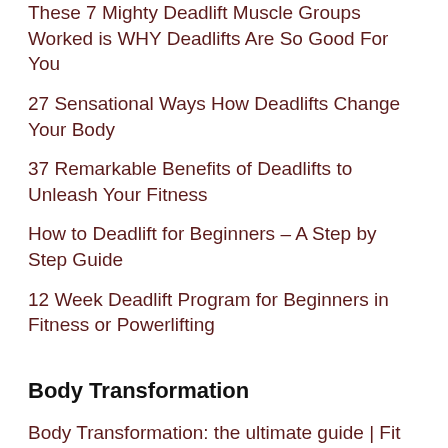These 7 Mighty Deadlift Muscle Groups Worked is WHY Deadlifts Are So Good For You
27 Sensational Ways How Deadlifts Change Your Body
37 Remarkable Benefits of Deadlifts to Unleash Your Fitness
How to Deadlift for Beginners – A Step by Step Guide
12 Week Deadlift Program for Beginners in Fitness or Powerlifting
Body Transformation
Body Transformation: the ultimate guide | Fit Apprentice